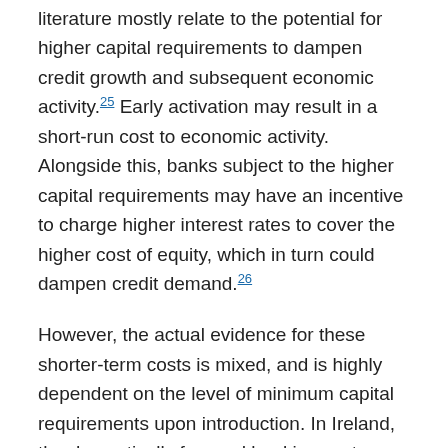literature mostly relate to the potential for higher capital requirements to dampen credit growth and subsequent economic activity.25 Early activation may result in a short-run cost to economic activity. Alongside this, banks subject to the higher capital requirements may have an incentive to charge higher interest rates to cover the higher cost of equity, which in turn could dampen credit demand.26
However, the actual evidence for these shorter-term costs is mixed, and is highly dependent on the level of minimum capital requirements upon introduction. In Ireland, the domestically focused banking system currently has capital levels well in excess of current regulatory minimum requirements. This reflects both legacies of the financial crisis and current challenges